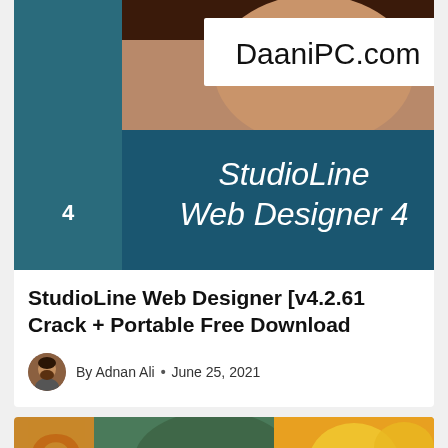[Figure (photo): StudioLine Web Designer 4 software box with DaaniPC.com watermark and a woman's face in the background]
StudioLine Web Designer [v4.2.61 Crack + Portable Free Download
By Adnan Ali • June 25, 2021
[Figure (photo): Partial second article image showing colorful artistic design with gold and teal tones, with letter O visible]